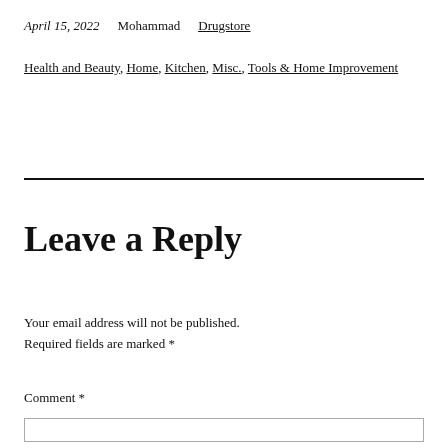April 15, 2022   Mohammad   Drugstore
Health and Beauty, Home, Kitchen, Misc., Tools & Home Improvement
Leave a Reply
Your email address will not be published. Required fields are marked *
Comment *